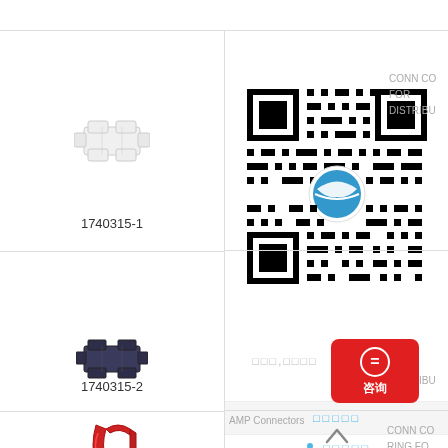[Figure (photo): White plastic connector part 1740315-1]
1740315-1
[Figure (photo): QR code with Strongbow logo in center]
CONN CO FOR DISTRIBU
[Figure (photo): Dark blue/black plastic connector part 1740315-2]
1740315-2
□□□,□□□□
咨询
DISTRIBU
□□□□□
□□□□□
□□□□
400-8855-160
[Figure (photo): Red C-ring connector part 1740316-1]
1740316-1
AMP Connectors
CONN CO RING FO DISTRIBU